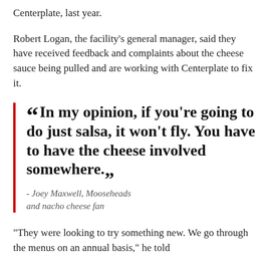Centerplate, last year.
Robert Logan, the facility's general manager, said they have received feedback and complaints about the cheese sauce being pulled and are working with Centerplate to fix it.
“In my opinion, if you're going to do just salsa, it won't fly. You have to have the cheese involved somewhere.”
- Joey Maxwell, Mooseheads and nacho cheese fan
"They were looking to try something new. We go through the menus on an annual basis," he told